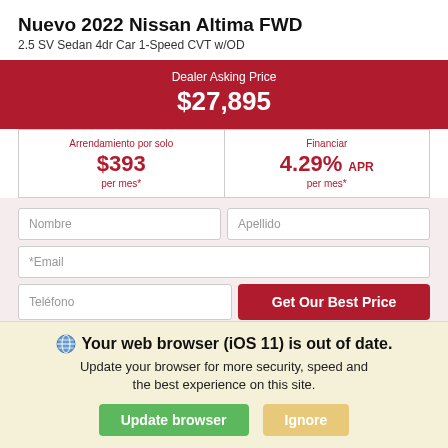Nuevo 2022 Nissan Altima FWD
2.5 SV Sedan 4dr Car 1-Speed CVT w/OD
Dealer Asking Price $27,895
Arrendamiento por solo $393 per mes*
Financiar 4.29% APR per mes*
Nombre
Apellido
*Email
Teléfono
Get Our Best Price
NISSAN OF SACRAMENTO
Your web browser (iOS 11) is out of date. Update your browser for more security, speed and the best experience on this site.
Update browser
Ignore